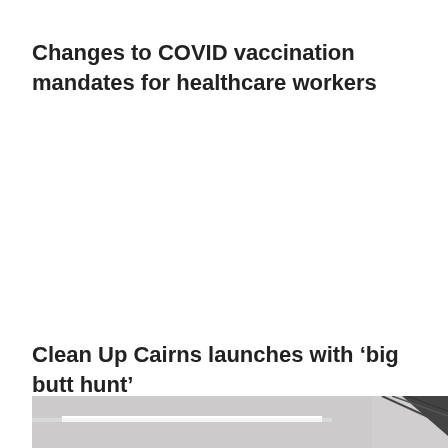Changes to COVID vaccination mandates for healthcare workers
Clean Up Cairns launches with ‘big butt hunt’
[Figure (photo): Partial image of an interior ceiling or architectural element, showing light strips and a diagonal metal/structural element against a light background]